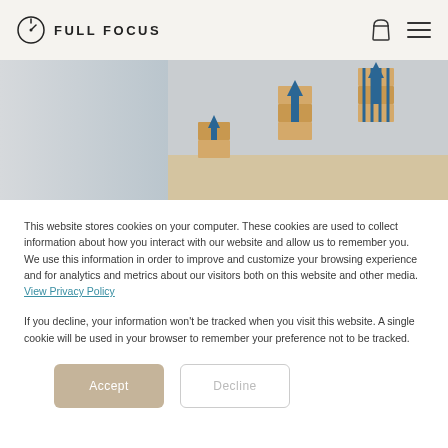FULL FOCUS
[Figure (photo): Hero image showing wooden blocks with upward blue arrows arranged in ascending staircase pattern, suggesting growth]
This website stores cookies on your computer. These cookies are used to collect information about how you interact with our website and allow us to remember you. We use this information in order to improve and customize your browsing experience and for analytics and metrics about our visitors both on this website and other media. View Privacy Policy
If you decline, your information won't be tracked when you visit this website. A single cookie will be used in your browser to remember your preference not to be tracked.